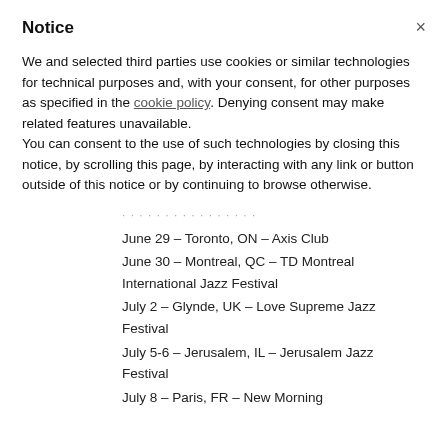Notice
We and selected third parties use cookies or similar technologies for technical purposes and, with your consent, for other purposes as specified in the cookie policy. Denying consent may make related features unavailable.
You can consent to the use of such technologies by closing this notice, by scrolling this page, by interacting with any link or button outside of this notice or by continuing to browse otherwise.
June 29 – Toronto, ON – Axis Club
June 30 – Montreal, QC – TD Montreal International Jazz Festival
July 2 – Glynde, UK – Love Supreme Jazz Festival
July 5-6 – Jerusalem, IL – Jerusalem Jazz Festival
July 8 – Paris, FR – New Morning